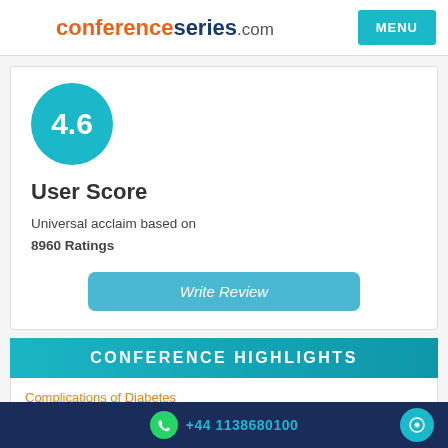conferenceseries.com
[Figure (infographic): Teal circle with '4.6' score rating]
User Score
Universal acclaim based on 8960 Ratings
[Figure (other): Write Review button]
CONFERENCE HIGHLIGHTS
Complications of Diabetes
EDCs (Endocrine Disrupting Chemicals)
+44 1138680100